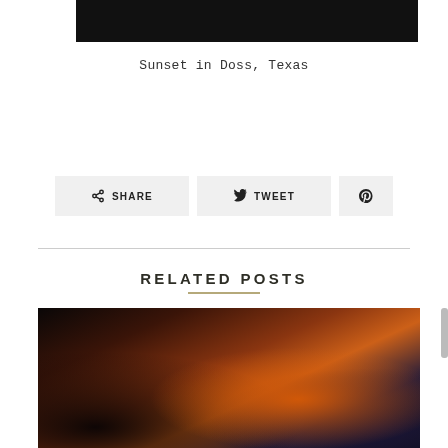[Figure (photo): Dark/night image cropped at top of page]
Sunset in Doss, Texas
SHARE   TWEET   [Pinterest icon]
RELATED POSTS
[Figure (photo): Close-up food/cooking photo with orange and dark tones at bottom of page]